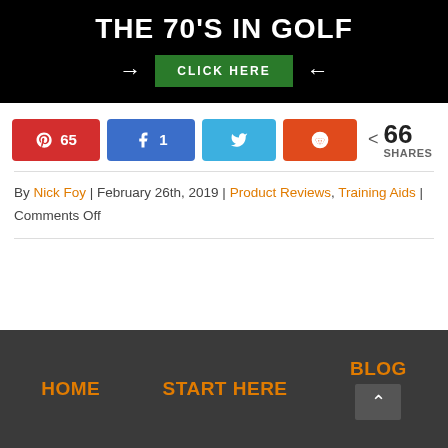[Figure (infographic): Black banner advertisement with white bold text reading 'THE 70'S IN GOLF', a green 'CLICK HERE' button with white arrows on either side]
Pinterest 65 | Facebook 1 | Twitter | Reddit | < 66 SHARES
By Nick Foy | February 26th, 2019 | Product Reviews, Training Aids | Comments Off
HOME | START HERE | BLOG